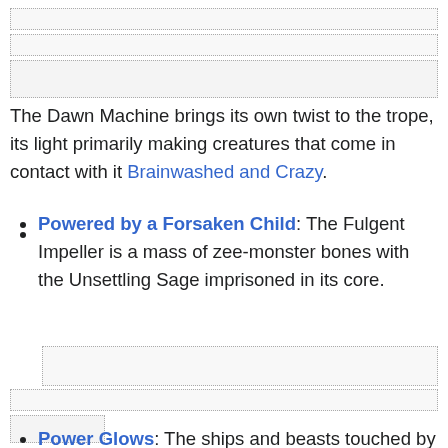[Figure (other): Placeholder/redacted content bar 1]
[Figure (other): Placeholder/redacted content bar 2]
[Figure (other): Placeholder/redacted content bar 3 (taller)]
The Dawn Machine brings its own twist to the trope, its light primarily making creatures that come in contact with it Brainwashed and Crazy.
Powered by a Forsaken Child: The Fulgent Impeller is a mass of zee-monster bones with the Unsettling Sage imprisoned in its core.
[Figure (other): Placeholder/redacted content mid box 1]
[Figure (other): Placeholder/redacted content mid box 2]
[Figure (other): Placeholder/redacted small box]
Power Glows: The ships and beasts touched by the Dawn Machine all emit a yellow-orange, incandescent glow, and are some of the most powerful enemies you can find at zee.
Proud Warrior Race Guy: Notably averted by the Khanate of the Salt Steppe. Despite being the subterranean remnant of the Mongol Yuan dynasty, they've purged their